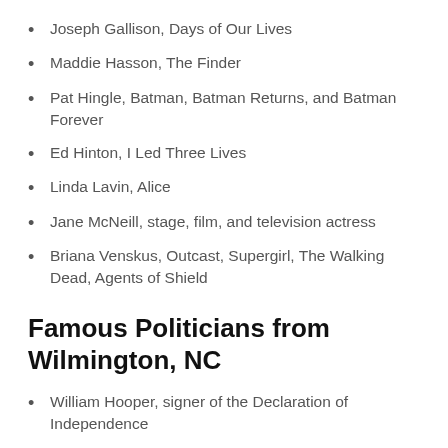Joseph Gallison, Days of Our Lives
Maddie Hasson, The Finder
Pat Hingle, Batman, Batman Returns, and Batman Forever
Ed Hinton, I Led Three Lives
Linda Lavin, Alice
Jane McNeill, stage, film, and television actress
Briana Venskus, Outcast, Supergirl, The Walking Dead, Agents of Shield
Famous Politicians from Wilmington, NC
William Hooper, signer of the Declaration of Independence